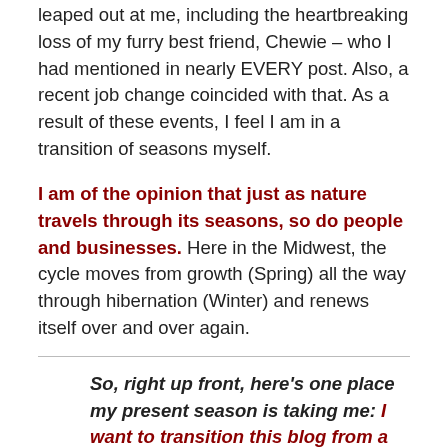leaped out at me, including the heartbreaking loss of my furry best friend, Chewie – who I had mentioned in nearly EVERY post. Also, a recent job change coincided with that. As a result of these events, I feel I am in a transition of seasons myself.
I am of the opinion that just as nature travels through its seasons, so do people and businesses. Here in the Midwest, the cycle moves from growth (Spring) all the way through hibernation (Winter) and renews itself over and over again.
So, right up front, here's one place my present season is taking me: I want to transition this blog from a primarily exercise-focused motivation to a more all-inclusive, whole-life-benefitting focus.
After all, it seems like a blog should also cover this